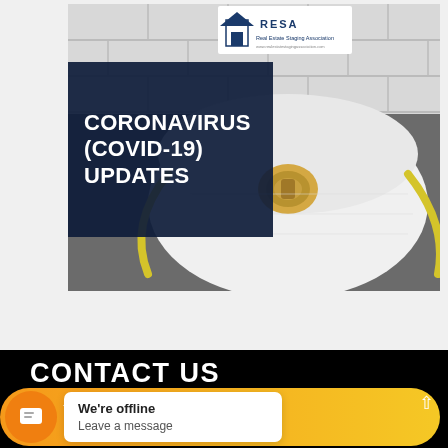[Figure (logo): RESA Real Estate Staging Association logo in the top center of the image area]
[Figure (photo): Close-up photo of a white N95 respirator/face mask on a dark surface with yellow straps visible, overlaid with a dark navy box containing the text CORONAVIRUS (COVID-19) UPDATES in white bold uppercase letters]
CORONAVIRUS (COVID-19) UPDATES
CONTACT US
[Figure (screenshot): Live chat widget overlay showing an orange/yellow pill-shaped bar with a circular chat icon on the left and a white popup bubble saying 'We're offline / Leave a message']
We're offline
Leave a message
36 Hiscott Street Suite 100, St. Catharines, Ontario L2R